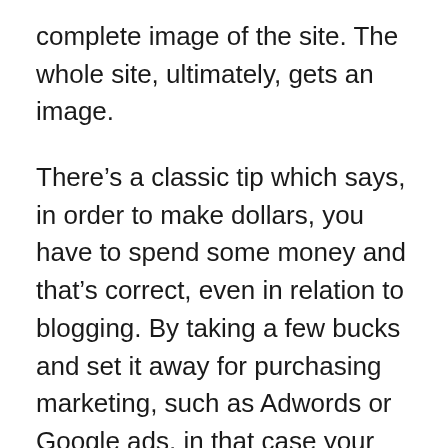complete image of the site. The whole site, ultimately, gets an image.
There’s a classic tip which says, in order to make dollars, you have to spend some money and that’s correct, even in relation to blogging. By taking a few bucks and set it away for purchasing marketing, such as Adwords or Google ads, in that case your internet site will get that much increased traffic and coverage.
Anytime you can, you should try to involve some upfront narration in the topics that you are currently talking about. This will make your audience really feel closer to you, that makes them want to come back and look at more by you. This is a powerful and great way to create your weblog drive...